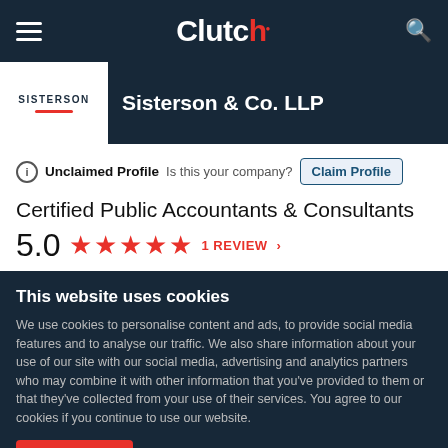Clutch
Sisterson & Co. LLP
Unclaimed Profile  Is this your company?  Claim Profile
Certified Public Accountants & Consultants
5.0  ★★★★★  1 REVIEW
This website uses cookies
We use cookies to personalise content and ads, to provide social media features and to analyse our traffic. We also share information about your use of our site with our social media, advertising and analytics partners who may combine it with other information that you've provided to them or that they've collected from your use of their services. You agree to our cookies if you continue to use our website.
Close  Show details